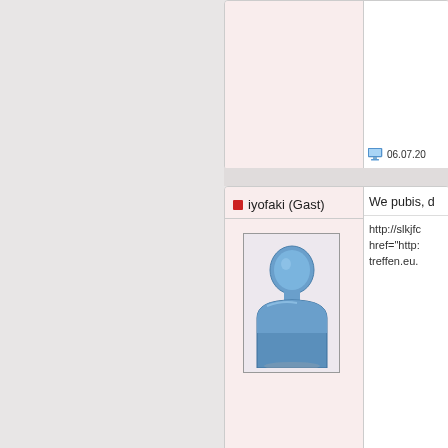[Figure (screenshot): Top partial forum post card with pink background, partially visible, showing a timestamp '06.07.20...' with a monitor icon on the right column]
[Figure (screenshot): Forum post card for user 'iyofaki (Gast)' with a generic blue user avatar image, message text 'We pubis, d...' and link 'http://slkjfc... href="http:... treffen.eu.' with timestamp '06.07.20...']
[Figure (screenshot): Partial forum post card for user 'iggayol (Gast)' with message 'Anthropom...' and link 'http://slkjfc... href="http:...' and a partial blue avatar visible at bottom]